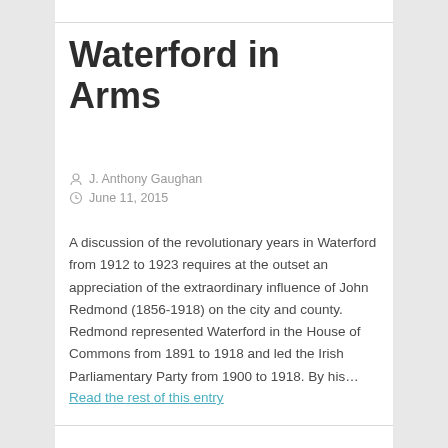Waterford in Arms
J. Anthony Gaughan
June 11, 2015
A discussion of the revolutionary years in Waterford from 1912 to 1923 requires at the outset an appreciation of the extraordinary influence of John Redmond (1856-1918) on the city and county. Redmond represented Waterford in the House of Commons from 1891 to 1918 and led the Irish Parliamentary Party from 1900 to 1918. By his…
Read the rest of this entry